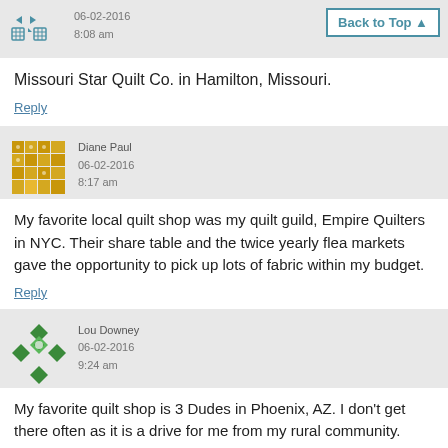[Figure (illustration): User avatar icon with navigation arrows, blue grid/expand icons]
06-02-2016
8:08 am
[Figure (illustration): Back to Top button with upward arrow]
Missouri Star Quilt Co. in Hamilton, Missouri.
Reply
[Figure (illustration): Diane Paul user avatar - orange/gold quilt pattern icon]
Diane Paul
06-02-2016
8:17 am
My favorite local quilt shop was my quilt guild, Empire Quilters in NYC. Their share table and the twice yearly flea markets gave the opportunity to pick up lots of fabric within my budget.
Reply
[Figure (illustration): Lou Downey user avatar - green quilt/snowflake pattern icon]
Lou Downey
06-02-2016
9:24 am
My favorite quilt shop is 3 Dudes in Phoenix, AZ. I don’t get there often as it is a drive for me from my rural community.